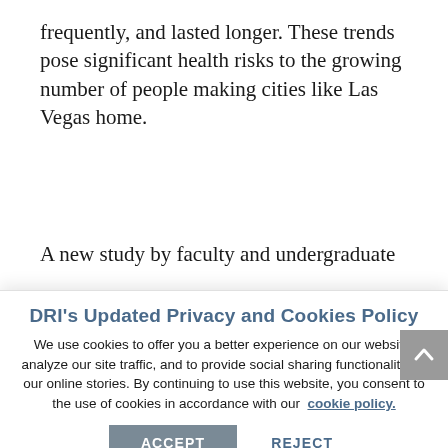frequently, and lasted longer. These trends pose significant health risks to the growing number of people making cities like Las Vegas home.
A new study by faculty and undergraduate...
DRI's Updated Privacy and Cookies Policy
We use cookies to offer you a better experience on our website, analyze our site traffic, and to provide social sharing functionality for our online stories. By continuing to use this website, you consent to the use of cookies in accordance with our cookie policy.
ACCEPT   REJECT